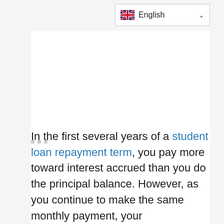[Figure (screenshot): Language selector dropdown showing UK flag and 'English' with chevron, positioned top right]
[Figure (other): Loading indicator with three small grey square dots]
In the first several years of a student loan repayment term, you pay more toward interest accrued than you do the principal balance. However, as you continue to make the same monthly payment, your